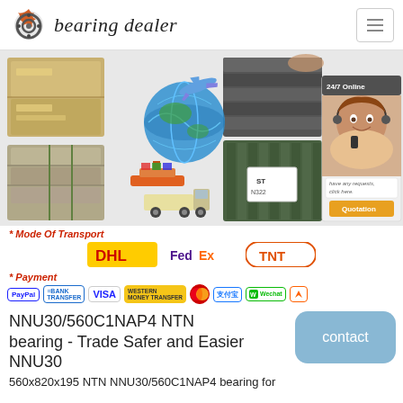bearing dealer
[Figure (photo): Collage of shipping/transport images: boxes on pallets, globe with airplane and truck logistics graphic, stacked black panels/bearings, and a 24/7 online chat widget with customer service agent]
* Mode Of Transport
[Figure (logo): DHL, FedEx, and TNT courier logos]
* Payment
[Figure (logo): PayPal, Bank Transfer, VISA, Western Union Money Transfer, Mastercard, Alipay, WeChat, Alibaba.com payment logos]
NNU30/560C1NAP4 NTN bearing - Trade Safer and Easier NNU30
560x820x195 NTN NNU30/560C1NAP4 bearing for